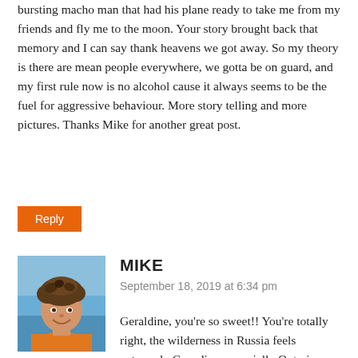bursting macho man that had his plane ready to take me from my friends and fly me to the moon. Your story brought back that memory and I can say thank heavens we got away. So my theory is there are mean people everywhere, we gotta be on guard, and my first rule now is no alcohol cause it always seems to be the fuel for aggressive behaviour. More story telling and more pictures. Thanks Mike for another great post.
Reply
MIKE
September 18, 2019 at 6:34 pm
[Figure (photo): Profile photo of Mike, a young man with tousled hair wearing an orange shirt, photographed outdoors near water]
Geraldine, you're so sweet!! You're totally right, the wilderness in Russia feels extremely Canadian, especially Ontarian where I grew up